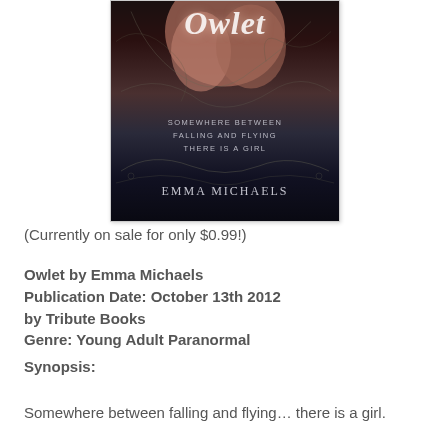[Figure (illustration): Book cover for 'Owlet' by Emma Michaels. Dark background with decorative swirls, a female figure, text reading 'Somewhere Between Falling and Flying There Is a Girl', and author name 'Emma Michaels'.]
(Currently on sale for only $0.99!)
Owlet by Emma Michaels
Publication Date: October 13th 2012
by Tribute Books
Genre: Young Adult Paranormal
Synopsis:
Somewhere between falling and flying… there is a girl.